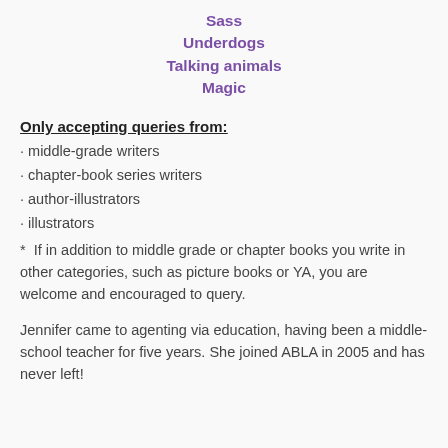Sass
Underdogs
Talking animals
Magic
Only accepting queries from:
· middle-grade writers
· chapter-book series writers
· author-illustrators
· illustrators
*  If in addition to middle grade or chapter books you write in other categories, such as picture books or YA, you are welcome and encouraged to query.
Jennifer came to agenting via education, having been a middle-school teacher for five years. She joined ABLA in 2005 and has never left!